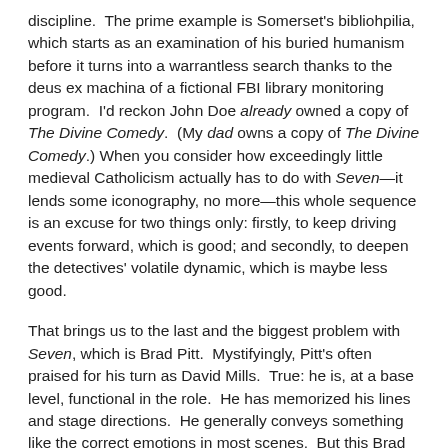discipline.  The prime example is Somerset's bibliohpilia, which starts as an examination of his buried humanism before it turns into a warrantless search thanks to the deus ex machina of a fictional FBI library monitoring program.  I'd reckon John Doe already owned a copy of The Divine Comedy.  (My dad owns a copy of The Divine Comedy.) When you consider how exceedingly little medieval Catholicism actually has to do with Seven—it lends some iconography, no more—this whole sequence is an excuse for two things only: firstly, to keep driving events forward, which is good; and secondly, to deepen the detectives' volatile dynamic, which is maybe less good.
That brings us to the last and the biggest problem with Seven, which is Brad Pitt.  Mystifyingly, Pitt's often praised for his turn as David Mills.  True: he is, at a base level, functional in the role.  He has memorized his lines and stage directions.  He generally conveys something like the correct emotions in most scenes.  But this Brad Pitt truly would eat your sandwich, going off the rails early and often, without hinting that he's even heard of "modulation" before. The result is a character who is written as immature, but is